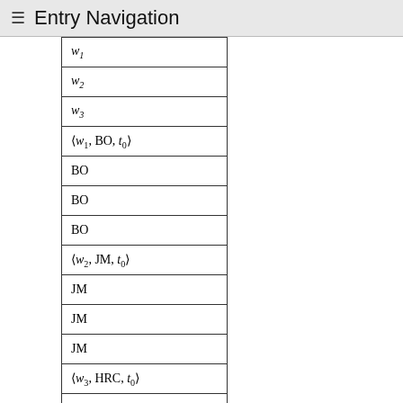≡ Entry Navigation
| w₁ |
| w₂ |
| w₃ |
| ⟨w₁, BO, t₀⟩ |
| BO |
| BO |
| BO |
| ⟨w₂, JM, t₀⟩ |
| JM |
| JM |
| JM |
| ⟨w₃, HRC, t₀⟩ |
| HRC |
| HRC |
| HRC |
What the matrix reveals is that the expression 'I' rigidly designates different individuals, depending on the context in which it is used. Thus the 2D matrix provides a graphic…